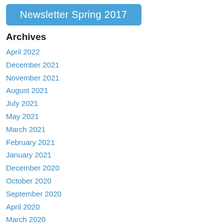Newsletter Spring 2017
Archives
April 2022
December 2021
November 2021
August 2021
July 2021
May 2021
March 2021
February 2021
January 2021
December 2020
October 2020
September 2020
April 2020
March 2020
February 2020
January 2020
December 2019